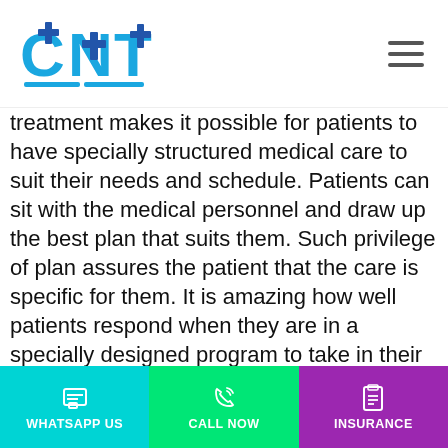CNT logo and navigation menu
treatment makes it possible for patients to have specially structured medical care to suit their needs and schedule. Patients can sit with the medical personnel and draw up the best plan that suits them. Such privilege of plan assures the patient that the care is specific for them. It is amazing how well patients respond when they are in a specially designed program to take in their needs, desires, and prioritize their comfort.
Access to support from family and other community: Outpatient care makes it easier for patients to receive support from their family members and communities of people with similar situations, who have achieved success. This is another way of helping them gain independence from drugs and alcohol. The more patients interact
WHATSAPP US | CALL NOW | INSURANCE